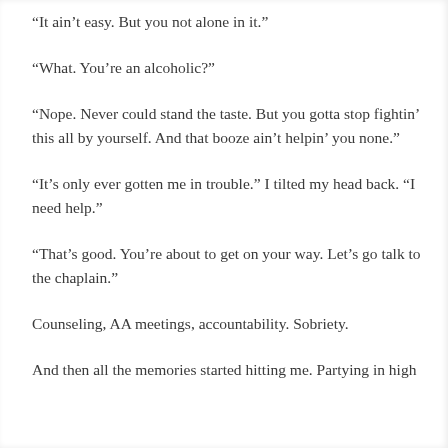“It ain’t easy. But you not alone in it.”
“What. You’re an alcoholic?”
“Nope. Never could stand the taste. But you gotta stop fightin’ this all by yourself. And that booze ain’t helpin’ you none.”
“It’s only ever gotten me in trouble.” I tilted my head back. “I need help.”
“That’s good. You’re about to get on your way. Let’s go talk to the chaplain.”
Counseling, AA meetings, accountability. Sobriety.
And then all the memories started hitting me. Partying in high